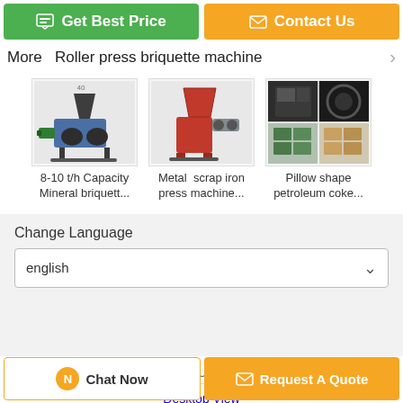Get Best Price
Contact Us
More  Roller press briquette machine
[Figure (photo): 8-10 t/h Capacity Mineral briquette machine product photo]
8-10 t/h Capacity Mineral briquett...
[Figure (photo): Metal scrap iron press machine product photo]
Metal  scrap iron press machine...
[Figure (photo): Pillow shape petroleum coke product photo]
Pillow shape petroleum coke...
Change Language
english
Home | About Us | Contact Us
Desktop View
China Roller press briquette machine Supplier. Copyright © 2016 - 2022
Chat Now
Request A Quote